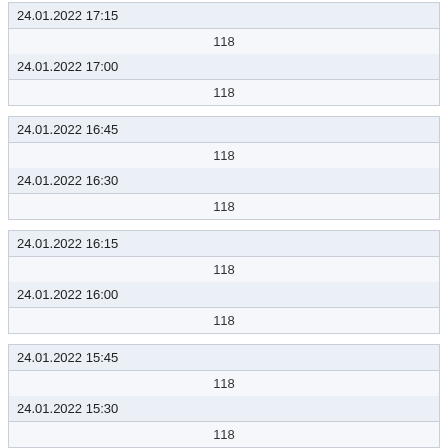| 24.01.2022 17:15 |
| 118 |
| 24.01.2022 17:00 |
| 118 |
| 24.01.2022 16:45 |
| 118 |
| 24.01.2022 16:30 |
| 118 |
| 24.01.2022 16:15 |
| 118 |
| 24.01.2022 16:00 |
| 118 |
| 24.01.2022 15:45 |
| 118 |
| 24.01.2022 15:30 |
| 118 |